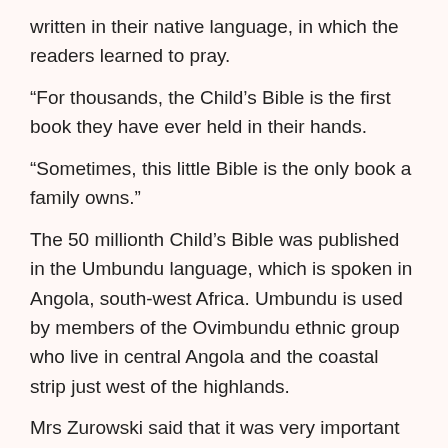written in their native language, in which the readers learned to pray.
“For thousands, the Child’s Bible is the first book they have ever held in their hands.
“Sometimes, this little Bible is the only book a family owns.”
The 50 millionth Child’s Bible was published in the Umbundu language, which is spoken in Angola, south-west Africa. Umbundu is used by members of the Ovimbundu ethnic group who live in central Angola and the coastal strip just west of the highlands.
Mrs Zurowski said that it was very important for the charity to support the Church in Angola, which was still recovering from a civil war that only ended in 2002.
The Child’s Bible is widely used as a basis for religious instruction in many countries and in some places is used to help children – and even adults – learn to read.
In 2012 more than a million copies of the book are expected to be printed in 93 languages, including for the first time...